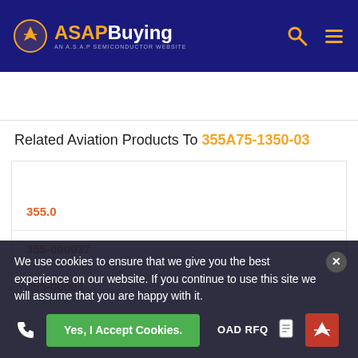ASAP Buying - AN A.S.A.P SEMICONDUCTOR WEBSITE
Related Aviation Products To 355A75-1350-03
355.0
355-000037
355-00004
We use cookies to ensure that we give you the best experience on our website. If you continue to use this site we will assume that you are happy with it.
Yes, I Accept Cookies.